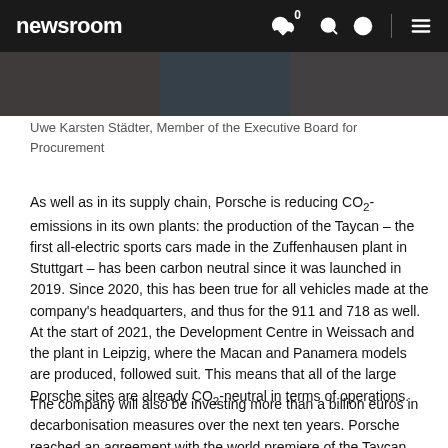newsroom
[Figure (photo): Partial view of a person, likely Uwe Karsten Städter, Member of the Executive Board for Procurement]
Uwe Karsten Städter, Member of the Executive Board for Procurement
As well as in its supply chain, Porsche is reducing CO₂-emissions in its own plants: the production of the Taycan – the first all-electric sports cars made in the Zuffenhausen plant in Stuttgart – has been carbon neutral since it was launched in 2019. Since 2020, this has been true for all vehicles made at the company's headquarters, and thus for the 911 and 718 as well. At the start of 2021, the Development Centre in Weissach and the plant in Leipzig, where the Macan and Panamera models are produced, followed suit. This means that all of the large Porsche sites are already CO₂-neutral in terms of operations.
The company will also be investing more than a billion euros in decarbonisation measures over the next ten years. Porsche reached an agreement with the world premiere of the Taycan Car Taycan at